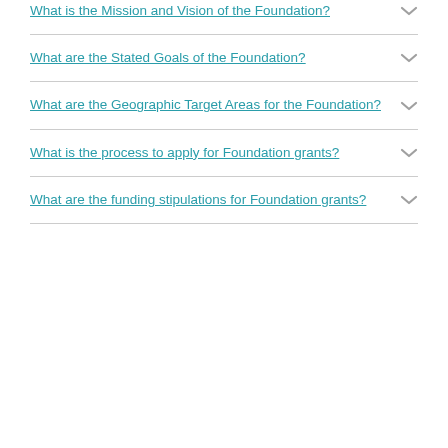What is the Mission and Vision of the Foundation?
What are the Stated Goals of the Foundation?
What are the Geographic Target Areas for the Foundation?
What is the process to apply for Foundation grants?
What are the funding stipulations for Foundation grants?